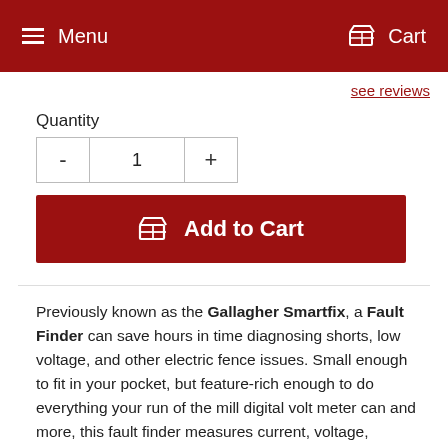Menu  Cart
see reviews
Quantity
- 1 +
Add to Cart
Previously known as the Gallagher Smartfix, a Fault Finder can save hours in time diagnosing shorts, low voltage, and other electric fence issues. Small enough to fit in your pocket, but feature-rich enough to do everything your run of the mill digital volt meter can and more, this fault finder measures current, voltage, direction of the fault, and more.
Multi-mode fault finding tool: Current Meter and Digital Volt